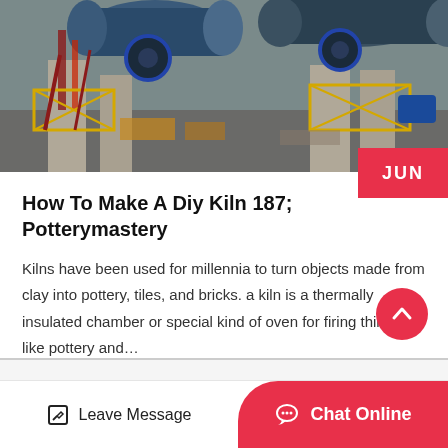[Figure (photo): Industrial rotary kiln machinery at a construction or manufacturing site, showing large cylindrical drums supported on concrete pillars with metal scaffolding and yellow safety structures]
How To Make A Diy Kiln 187; Potterymastery
Kilns have been used for millennia to turn objects made from clay into pottery, tiles, and bricks. a kiln is a thermally insulated chamber or special kind of oven for firing things like pottery and…
Get Price >